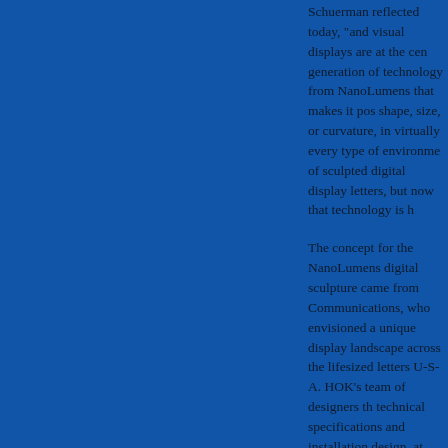Schuerman reflected today, "and visual displays are at the center of that. The next generation of technology from NanoLumens that makes it possible to display any shape, size, or curvature, in virtually every type of environment. I'd always dreamed of sculpted digital display letters, but now that technology is here."
The concept for the NanoLumens digital sculpture came from HOK Visual Communications, who envisioned a unique display landscape with video content playing across the lifesized letters U-S-A. HOK's team of designers then worked out the technical specifications and installation design, at which point they went looking for a manufacturer who could build this display and make the vision a reality.
Increasingly, innovative digital signage projects require the marriage of a design firm and a display manufacturer that can build displays to the exact specifications, whatever the size or shape. With this type of project becoming more common, HOK provides from pure AV, architectural acoustics, and industrial a
"Working directly with HOK Visual Communications has allowed us to push the boundaries and are often centered around, modern technology," Schuerman said. "For this project, they asked themselves what they could do that hasn't been done before. This is as much a digital signage display as it is a piece of modern art that tells a story. This project is proof that with NanoLumens, if you can imagine it,
"We're always looking for new ways to express our creativity